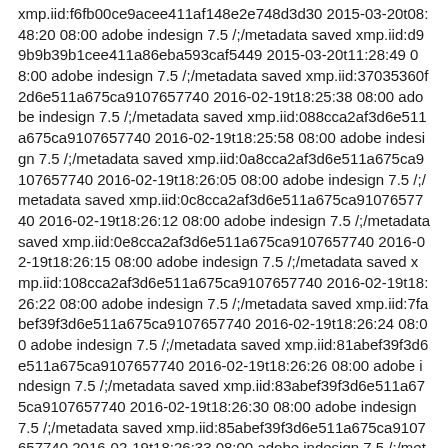xmp.iid:f6fb00ce9acee411af148e2e748d3d30 2015-03-20t08:48:20 08:00 adobe indesign 7.5 /;/metadata saved xmp.iid:d99b9b39b1cee411a86eba593caf5449 2015-03-20t11:28:49 08:00 adobe indesign 7.5 /;/metadata saved xmp.iid:37035360f2d6e511a675ca9107657740 2016-02-19t18:25:38 08:00 adobe indesign 7.5 /;/metadata saved xmp.iid:088cca2af3d6e511a675ca9107657740 2016-02-19t18:25:58 08:00 adobe indesign 7.5 /;/metadata saved xmp.iid:0a8cca2af3d6e511a675ca9107657740 2016-02-19t18:26:05 08:00 adobe indesign 7.5 /;/metadata saved xmp.iid:0c8cca2af3d6e511a675ca9107657740 2016-02-19t18:26:12 08:00 adobe indesign 7.5 /;/metadata saved xmp.iid:0e8cca2af3d6e511a675ca9107657740 2016-02-19t18:26:15 08:00 adobe indesign 7.5 /;/metadata saved xmp.iid:108cca2af3d6e511a675ca9107657740 2016-02-19t18:26:22 08:00 adobe indesign 7.5 /;/metadata saved xmp.iid:7fabef39f3d6e511a675ca9107657740 2016-02-19t18:26:24 08:00 adobe indesign 7.5 /;/metadata saved xmp.iid:81abef39f3d6e511a675ca9107657740 2016-02-19t18:26:26 08:00 adobe indesign 7.5 /;/metadata saved xmp.iid:83abef39f3d6e511a675ca9107657740 2016-02-19t18:26:30 08:00 adobe indesign 7.5 /;/metadata saved xmp.iid:85abef39f3d6e511a675ca9107657740 2016-02-19t18:26:33 08:00 adobe indesign 7.5 /;/metadata saved xmp.iid:87abef39f3d6e511a675ca9107657740 2016-02-19t18:26:41 08:00 adobe indesign 7.5 /;/metadata saved